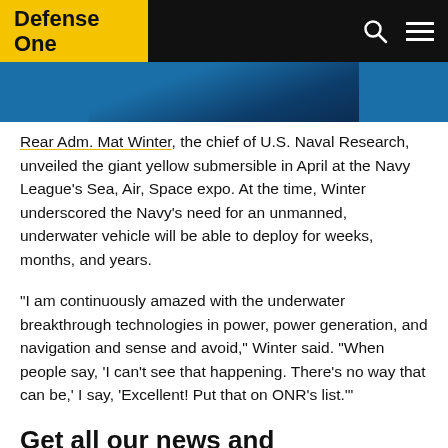Defense One
[Figure (photo): Partial image of a dark blue/teal background, likely a cropped photo related to the article about naval submersibles]
Rear Adm. Mat Winter, the chief of U.S. Naval Research, unveiled the giant yellow submersible in April at the Navy League's Sea, Air, Space expo. At the time, Winter underscored the Navy's need for an unmanned, underwater vehicle will be able to deploy for weeks, months, and years.
“I am continuously amazed with the underwater breakthrough technologies in power, power generation, and navigation and sense and avoid,” Winter said. “When people say, ‘I can’t see that happening. There’s no way that can be,’ I say, ‘Excellent! Put that on ONR’s list.’”
Get all our news and commentary in